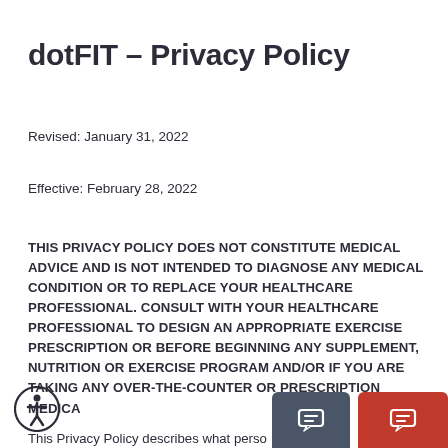dotFIT – Privacy Policy
Revised: January 31, 2022
Effective: February 28, 2022
THIS PRIVACY POLICY DOES NOT CONSTITUTE MEDICAL ADVICE AND IS NOT INTENDED TO DIAGNOSE ANY MEDICAL CONDITION OR TO REPLACE YOUR HEALTHCARE PROFESSIONAL. CONSULT WITH YOUR HEALTHCARE PROFESSIONAL TO DESIGN AN APPROPRIATE EXERCISE PRESCRIPTION OR BEFORE BEGINNING ANY SUPPLEMENT, NUTRITION OR EXERCISE PROGRAM AND/OR IF YOU ARE TAKING ANY OVER-THE-COUNTER OR PRESCRIPTION MEDICA...
This Privacy Policy describes what perso... of